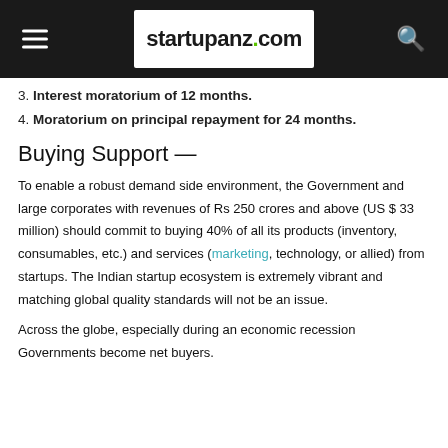startupanz.com
3. Interest moratorium of 12 months.
4. Moratorium on principal repayment for 24 months.
Buying Support —
To enable a robust demand side environment, the Government and large corporates with revenues of Rs 250 crores and above (US $ 33 million) should commit to buying 40% of all its products (inventory, consumables, etc.) and services (marketing, technology, or allied) from startups. The Indian startup ecosystem is extremely vibrant and matching global quality standards will not be an issue.
Across the globe, especially during an economic recession Governments become net buyers.